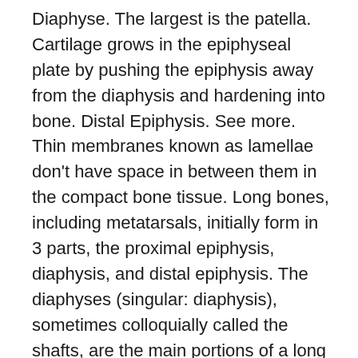Diaphyse. The largest is the patella. Cartilage grows in the epiphyseal plate by pushing the epiphysis away from the diaphysis and hardening into bone. Distal Epiphysis. See more. Thin membranes known as lamellae don't have space in between them in the compact bone tissue. Long bones, including metatarsals, initially form in 3 parts, the proximal epiphysis, diaphysis, and distal epiphysis. The diaphyses (singular: diaphysis), sometimes colloquially called the shafts, are the main portions of a long bone (a bone that is longer than it is wide) and provide most of their length. diaphysis . In growing children, the growth (epiphyseal) plate separates the epiphysis from the metaphysis. Az epiphysis és a diaphysis közötti hasonlóságok 5. metaphysis, this is a Salter Harris 4, not a 2 as the answer suggests. Diaphysis is long and cylindrical in shape. An example of a synchondrosis is the joint between the diaphysis and epiphysis of a growing long bone. Az epiphysis szerkezete kerek, mert megkönnyíti az ízületekkel való